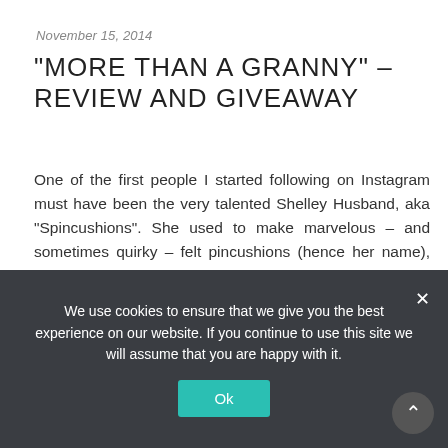November 15, 2014
“MORE THAN A GRANNY” – REVIEW AND GIVEAWAY
One of the first people I started following on Instagram must have been the very talented Shelley Husband, aka “Spincushions”. She used to make marvelous – and sometimes quirky – felt pincushions (hence her name), but she now says: “Crochet is my current obsession”. This crochet... continue reading
share
We use cookies to ensure that we give you the best experience on our website. If you continue to use this site we will assume that you are happy with it.